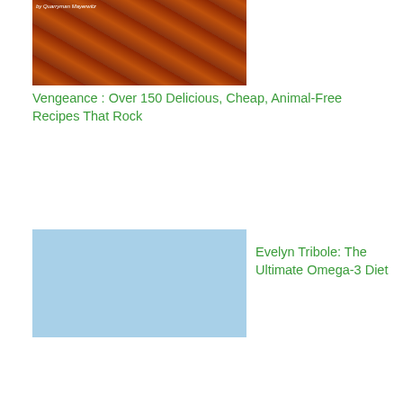[Figure (photo): Book cover for Vengeance: Over 150 Delicious, Cheap, Animal-Free Recipes That Rock (partially cropped at top)]
Vengeance : Over 150 Delicious, Cheap, Animal-Free Recipes That Rock
[Figure (photo): Book cover for The Ultimate Omega-3 Diet by Evelyn Tribole]
Evelyn Tribole: The Ultimate Omega-3 Diet
[Figure (photo): Book cover for Eat For Health (2 book set) by Joel Fuhrman]
Joel Fuhrman: Eat For Health: Lose Weight, Keep It Off, Look Younger, Live Longer (2 book set)
[Figure (photo): Book cover for The Anti-Alzheimer's book by Vincent (partially visible)]
Vincent